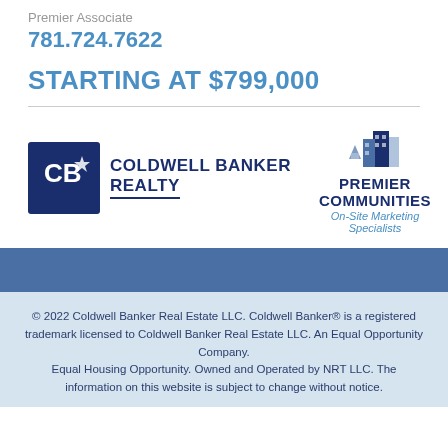Premier Associate
781.724.7622
STARTING AT $799,000
[Figure (logo): Coldwell Banker Realty logo — dark blue square with CB monogram and star, next to bold text 'COLDWELL BANKER REALTY']
[Figure (logo): Premier Communities logo — building icon above 'PREMIER COMMUNITIES' in bold dark blue, with italic blue text 'On-Site Marketing Specialists']
© 2022 Coldwell Banker Real Estate LLC. Coldwell Banker® is a registered trademark licensed to Coldwell Banker Real Estate LLC. An Equal Opportunity Company. Equal Housing Opportunity. Owned and Operated by NRT LLC. The information on this website is subject to change without notice.